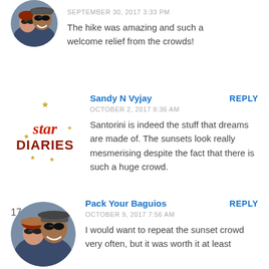[Figure (photo): Circular avatar photo of two people, a man and a woman with sunglasses, smiling]
SEPTEMBER 30, 2017 3:33 PM
The hike was amazing and such a welcome relief from the crowds!
[Figure (logo): Star Diaries logo with red italic text 'star' and bold 'DIARIES' with gold stars]
Sandy N Vyjay
REPLY
OCTOBER 2, 2017 8:36 AM
Santorini is indeed the stuff that dreams are made of. The sunsets look really mesmerising despite the fact that there is such a huge crowd.
17.
[Figure (photo): Circular avatar photo of two people, a man and a woman with sunglasses, smiling]
Pack Your Baguios
REPLY
OCTOBER 9, 2017 7:56 AM
I would want to repeat the sunset crowd very often, but it was worth it at least